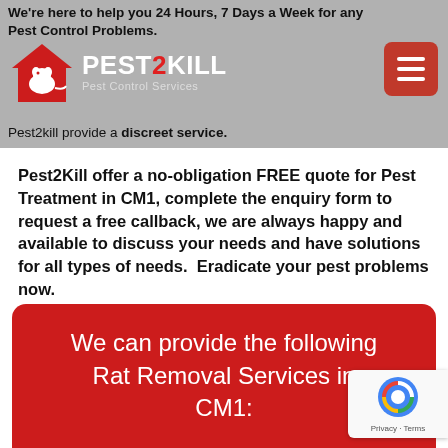We're here to help you 24 Hours, 7 Days a Week for any Pest Control Problems.
[Figure (logo): Pest2Kill logo with red house icon containing a white rat silhouette, text PEST2KILL in white with red 2, tagline Pest Control Services]
Pest2kill provide a discreet service.
Pest2Kill offer a no-obligation FREE quote for Pest Treatment in CM1, complete the enquiry form to request a free callback, we are always happy and available to discuss your needs and have solutions for all types of needs.  Eradicate your pest problems now.
Whatever your Pest Control Problems in CM1 contact Pest2kill now on 020 7205 2229.
We can provide the following Rat Removal Services in CM1: